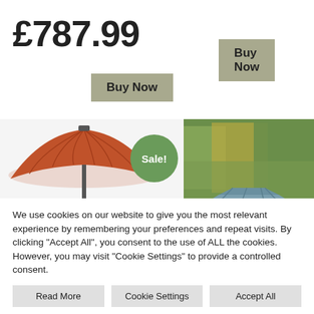£787.99
Buy Now
Buy Now
[Figure (illustration): Orange/terracotta patio umbrella with dark pole and a green circular 'Sale!' badge overlay]
[Figure (photo): Outdoor gazebo with grey polycarbonate roof panels, surrounded by autumn trees with yellow and green foliage]
We use cookies on our website to give you the most relevant experience by remembering your preferences and repeat visits. By clicking "Accept All", you consent to the use of ALL the cookies. However, you may visit "Cookie Settings" to provide a controlled consent.
Read More
Cookie Settings
Accept All